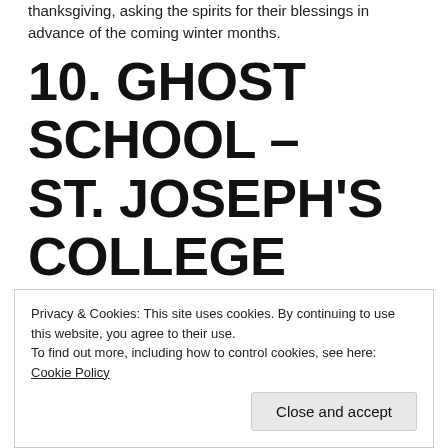thanksgiving, asking the spirits for their blessings in advance of the coming winter months.
10. GHOST SCHOOL – ST. JOSEPH'S COLLEGE SCHOOL
74 Wellesley West
A member of the Toronto Catholic School system, St. Joe's is using the occasion of Nuit Blanche to reflect on its history. Images of the school as it existed in its earliest form will be projected onto its
Privacy & Cookies: This site uses cookies. By continuing to use this website, you agree to their use.
To find out more, including how to control cookies, see here: Cookie Policy
Close and accept